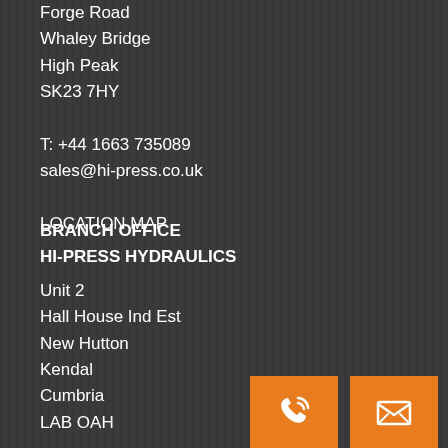Forge Road
Whaley Bridge
High Peak
SK23 7HY

T: +44 1663 735089
sales@hi-press.co.uk

LOCATION MAP
BRANCH OFFICE
HI-PRESS HYDRAULICS
Unit 2
Hall House Ind Est
New Hutton
Kendal
Cumbria
LAB OAH

T: +44 1539 734085
[Figure (other): Orange phone icon button]
[Figure (other): Orange email/envelope icon button]